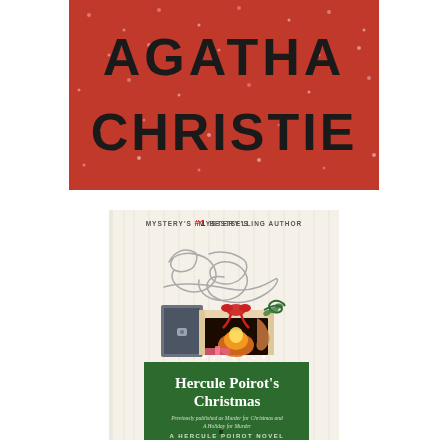[Figure (photo): Top portion of Agatha Christie book cover with red sparkly background and bold text reading AGATHA CHRISTIE]
[Figure (photo): Full book cover of Hercule Poirot's Christmas by Agatha Christie. Cream/white striped background with cursive Agatha Christie signature, fireplace scene with Christmas decorations, green banner at bottom with title text. Text reads: MYSTERY'S #1 BESTSELLING AUTHOR, Agatha Christie (cursive signature), Hercule Poirot's Christmas, Previously published as Murder for Christmas and A Holiday for Murder, A HERCULE POIROT NOVEL]